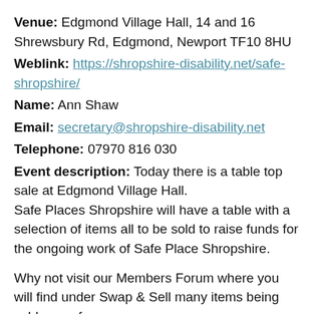Venue: Edgmond Village Hall, 14 and 16 Shrewsbury Rd, Edgmond, Newport TF10 8HU
Weblink: https://shropshire-disability.net/safe-shropshire/
Name: Ann Shaw
Email: secretary@shropshire-disability.net
Telephone: 07970 816 030
Event description: Today there is a table top sale at Edgmond Village Hall.
Safe Places Shropshire will have a table with a selection of items all to be sold to raise funds for the ongoing work of Safe Place Shropshire.
Why not visit our Members Forum where you will find under Swap & Sell many items being sold some for